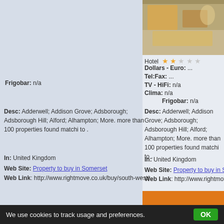[Figure (photo): Hotel room interior photo with bed and furniture]
Hotel ★★☆☆☆
Dollars - Euro: ...
Tel:Fax: ...
TV - HiFi: n/a
Clima: n/a
Frigobar: n/a
Desc: Adderwell; Addison Grove; Adsborough; Adsborough Hill; Alford; Alhampton; More. more than 100 properties found matchi to .
In: United Kingdom
Web Site: Property to buy in Somerset
Web Link: http://www.rightmove.co.uk/buy/south-west/somerset
Sidney Phillips :: Freehold & Leasehold Pubs
Info: Sidney Phillips :: Freehold & Leasehold Alhampton, United Kingdom:
[Figure (photo): Building exterior photo]
Hotel ★★★☆☆
[Figure (photo): Rooftop or exterior view photo]
We use cookies to track usage and preferences.